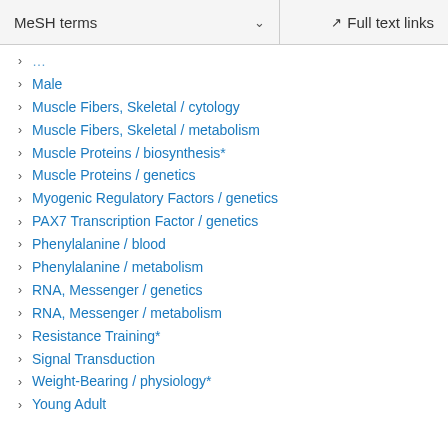MeSH terms   Full text links
Male
Muscle Fibers, Skeletal / cytology
Muscle Fibers, Skeletal / metabolism
Muscle Proteins / biosynthesis*
Muscle Proteins / genetics
Myogenic Regulatory Factors / genetics
PAX7 Transcription Factor / genetics
Phenylalanine / blood
Phenylalanine / metabolism
RNA, Messenger / genetics
RNA, Messenger / metabolism
Resistance Training*
Signal Transduction
Weight-Bearing / physiology*
Young Adult